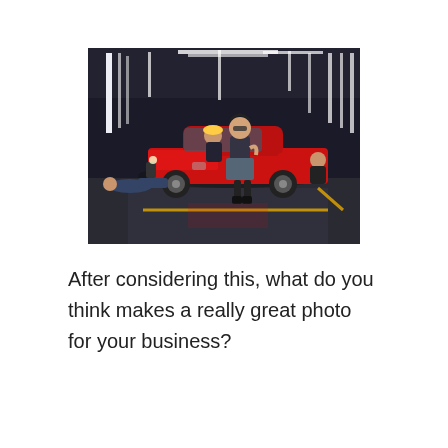[Figure (photo): A professional photo shoot in a modern auto garage/showroom with dramatic strip lighting on dark walls. A woman in a black dress and boots poses in front of a red Ford Mustang. Three male mechanics work around the car — one lying under the front bumper, one polishing the hood, and one crouching at the rear. The floor has yellow markings.]
After considering this, what do you think makes a really great photo for your business?